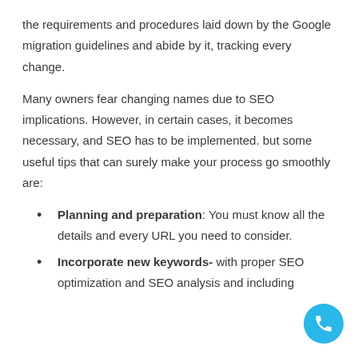the requirements and procedures laid down by the Google migration guidelines and abide by it, tracking every change.
Many owners fear changing names due to SEO implications. However, in certain cases, it becomes necessary, and SEO has to be implemented. but some useful tips that can surely make your process go smoothly are:
Planning and preparation: You must know all the details and every URL you need to consider.
Incorporate new keywords- with proper SEO optimization and SEO analysis and including